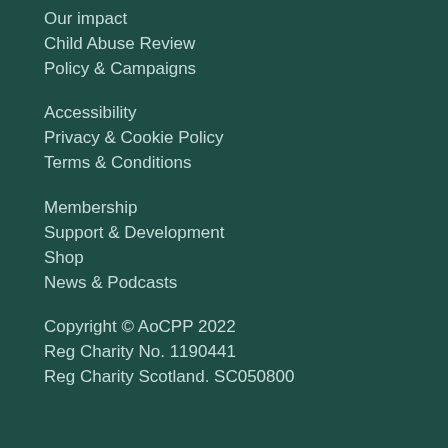Our impact
Child Abuse Review
Policy & Campaigns
Accessibility
Privacy & Cookie Policy
Terms & Conditions
Membership
Support & Development
Shop
News & Podcasts
Copyright © AoCPP 2022
Reg Charity No. 1190441
Reg Charity Scotland. SC050800